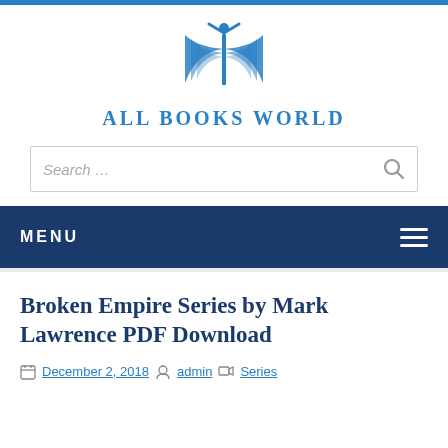[Figure (logo): All Books World logo: open book with human figure above, in blue, with site name 'ALL BOOKS WORLD' below]
Search …
MENU
Broken Empire Series by Mark Lawrence PDF Download
December 2, 2018   admin   Series